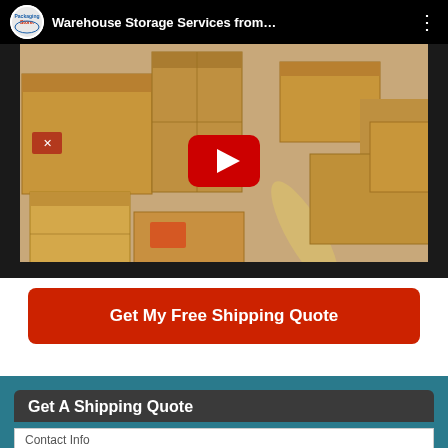[Figure (screenshot): YouTube video thumbnail showing stacked cardboard boxes with a play button overlay. Video title bar shows 'Warehouse Storage Services from...' with a channel logo and three-dot menu.]
Get My Free Shipping Quote
Get A Shipping Quote
Contact Info